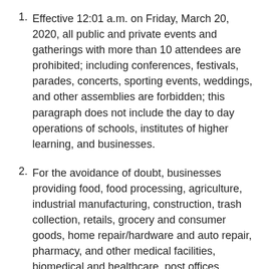Effective 12:01 a.m. on Friday, March 20, 2020, all public and private events and gatherings with more than 10 attendees are prohibited; including conferences, festivals, parades, concerts, sporting events, weddings, and other assemblies are forbidden; this paragraph does not include the day to day operations of schools, institutes of higher learning, and businesses.
For the avoidance of doubt, businesses providing food, food processing, agriculture, industrial manufacturing, construction, trash collection, retails, grocery and consumer goods, home repair/hardware and auto repair, pharmacy, and other medical facilities, biomedical and healthcare, post offices, insurance, banks, gas stations, laundromats, veterinary clinics and pet stores, warehousing,